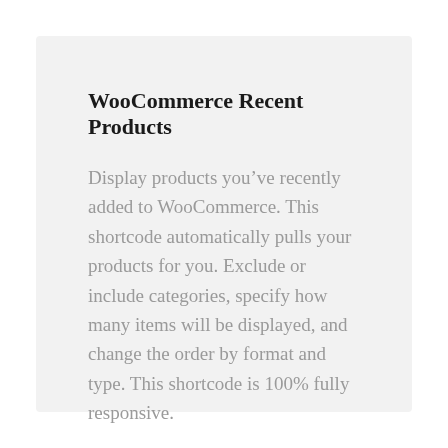WooCommerce Recent Products
Display products you've recently added to WooCommerce. This shortcode automatically pulls your products for you. Exclude or include categories, specify how many items will be displayed, and change the order by format and type. This shortcode is 100% fully responsive.